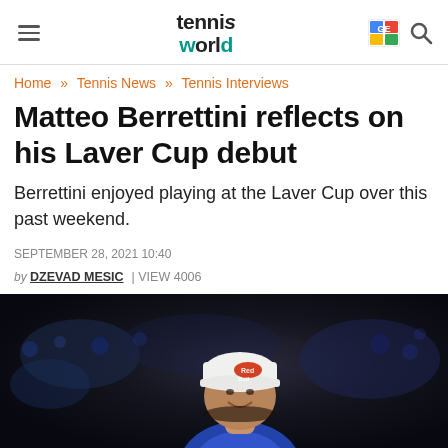tennis world — navigation header
Home » Tennis News » Tennis Interviews
Matteo Berrettini reflects on his Laver Cup debut
Berrettini enjoyed playing at the Laver Cup over this past weekend.
SEPTEMBER 28, 2021 10:40
by DZEVAD MESIC | VIEW 4006
[Figure (photo): Photo of Matteo Berrettini smiling, wearing a white Red Bull cap, at the Laver Cup arena with crowd in background]